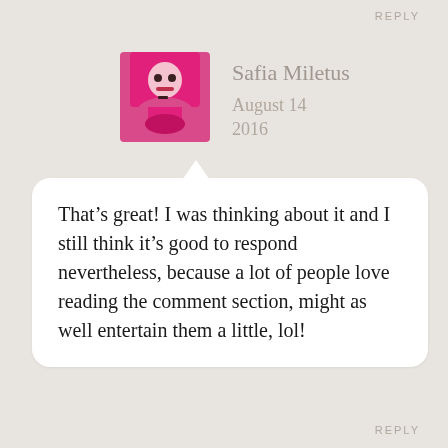REPLY
[Figure (photo): Profile photo of a woman with bright pink/magenta hair and dark lipstick, wearing a choker necklace, pink background]
Safia Miletus
August 14 2016
That’s great! I was thinking about it and I still think it’s good to respond nevertheless, because a lot of people love reading the comment section, might as well entertain them a little, lol!
REPLY